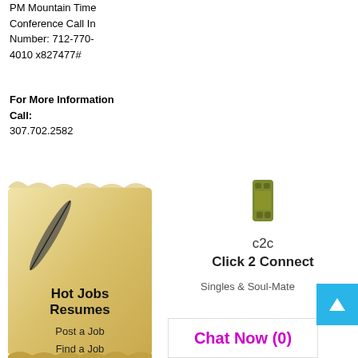PM Mountain Time
Conference Call In
Number: 712-770-4010 x827477#
For More Information Call:
307.702.2582
[Figure (illustration): Left ad banner: parchment scroll with feather quill pen illustration, text 'Hot Jobs Resumes', 'Post a Job', 'Find a Job']
[Figure (illustration): Right ad banner: c2c Click 2 Connect, phone icon, Singles & Soul-Mate text, Chat Now (0) button in magenta]
Singles & Soul-Mate